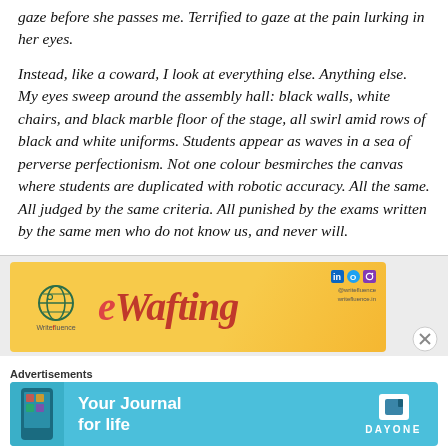gaze before she passes me. Terrified to gaze at the pain lurking in her eyes.
Instead, like a coward, I look at everything else. Anything else. My eyes sweep around the assembly hall: black walls, white chairs, and black marble floor of the stage, all swirl amid rows of black and white uniforms. Students appear as waves in a sea of perverse perfectionism. Not one colour besmirches the canvas where students are duplicated with robotic accuracy. All the same. All judged by the same criteria. All punished by the exams written by the same men who do not know us, and never will.
[Figure (other): Advertisement banner for Writefluence / Wafting with golden background, globe icon, social media icons, and partial text 'eWafting']
Advertisements
[Figure (other): Advertisement banner for Day One app - 'Your Journal for life' on cyan/teal background with phone graphic and Day One logo]